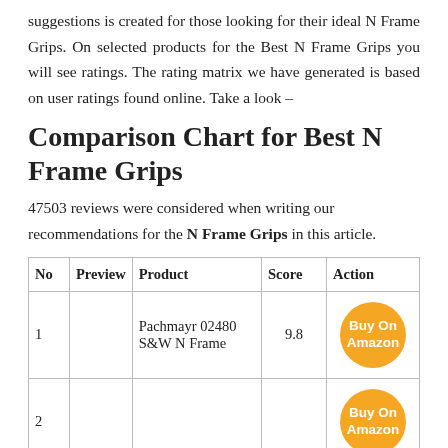suggestions is created for those looking for their ideal N Frame Grips. On selected products for the Best N Frame Grips you will see ratings. The rating matrix we have generated is based on user ratings found online. Take a look –
Comparison Chart for Best N Frame Grips
47503 reviews were considered when writing our recommendations for the N Frame Grips in this article.
| No | Preview | Product | Score | Action |
| --- | --- | --- | --- | --- |
| 1 |  | Pachmayr 02480 S&W N Frame | 9.8 | Buy On Amazon |
| 2 |  |  |  | Buy On Amazon |